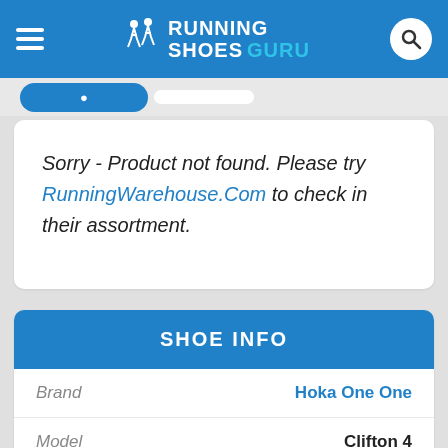RUNNING SHOES GURU
Sorry - Product not found. Please try RunningWarehouse.Com to check in their assortment.
SHOE INFO
| Field | Value |
| --- | --- |
| Brand | Hoka One One |
| Model | Clifton 4 |
| Type | Lightweight |